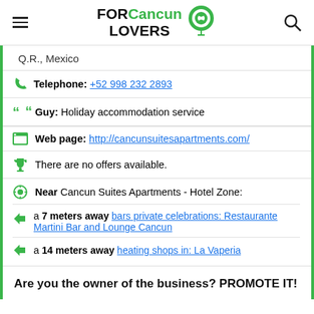FOR Cancun LOVERS
Q.R., Mexico
Telephone: +52 998 232 2893
Guy: Holiday accommodation service
Web page: http://cancunsuitesapartments.com/
There are no offers available.
Near Cancun Suites Apartments - Hotel Zone:
a 7 meters away bars private celebrations: Restaurante Martini Bar and Lounge Cancun
a 14 meters away heating shops in: La Vaperia
Are you the owner of the business? PROMOTE IT!